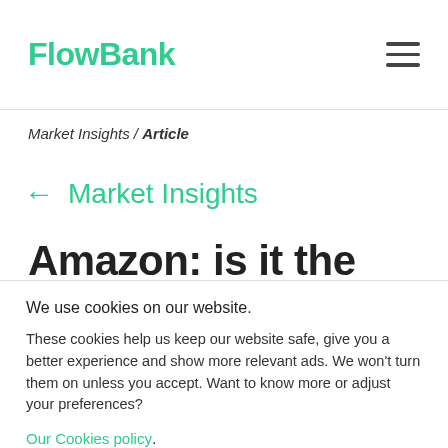FlowBank
Market Insights / Article
← Market Insights
Amazon: is it the right time
We use cookies on our website.
These cookies help us keep our website safe, give you a better experience and show more relevant ads. We won't turn them on unless you accept. Want to know more or adjust your preferences?
Our Cookies policy.
Manage preferences | Accept | Decline